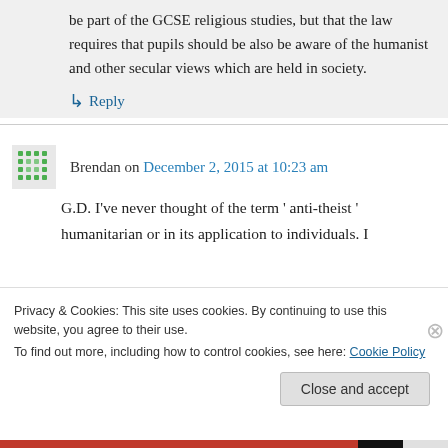be part of the GCSE religious studies, but that the law requires that pupils should be also be aware of the humanist and other secular views which are held in society.
↳ Reply
Brendan on December 2, 2015 at 10:23 am
G.D. I've never thought of the term ' anti-theist ' humanitarian or in its application to individuals. I
Privacy & Cookies: This site uses cookies. By continuing to use this website, you agree to their use.
To find out more, including how to control cookies, see here: Cookie Policy
Close and accept